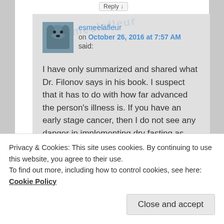Reply ↓
esmeelafleur
on October 26, 2016 at 7:57 AM
said:
I have only summarized and shared what Dr. Filonov says in his book. I suspect that it has to do with how far advanced the person's illness is. If you have an early stage cancer, then I do not see any danger in implementing dry fasting as part of your healing process.
Privacy & Cookies: This site uses cookies. By continuing to use this website, you agree to their use.
To find out more, including how to control cookies, see here: Cookie Policy
Close and accept